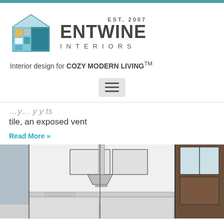[Figure (logo): Entwine Interiors logo with colorful house icon and text 'EST. 2007 ENTWINE INTERIORS']
Interior design for COZY MODERN LIVING™
[Figure (other): Hamburger menu button (three horizontal lines) in a rounded rectangle]
...tile, an exposed vent
Read More »
[Figure (illustration): Architectural sketch/3D rendering of a kitchen interior with cabinets, vent hood, and appliances]